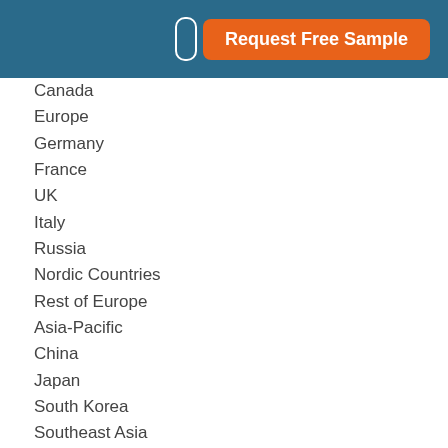[Figure (other): Header bar with Request Free Sample button and icon]
Canada
Europe
Germany
France
UK
Italy
Russia
Nordic Countries
Rest of Europe
Asia-Pacific
China
Japan
South Korea
Southeast Asia
India
Australia
Rest of Asia
Latin America
Mexico
Brazil